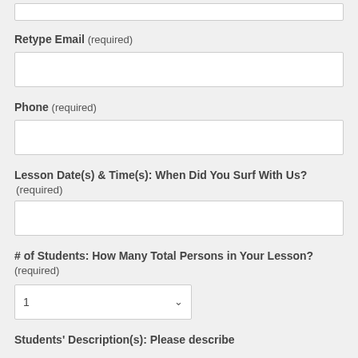Retype Email (required)
Phone (required)
Lesson Date(s) & Time(s): When Did You Surf With Us? (required)
# of Students: How Many Total Persons in Your Lesson? (required)
Students' Description(s): Please describe